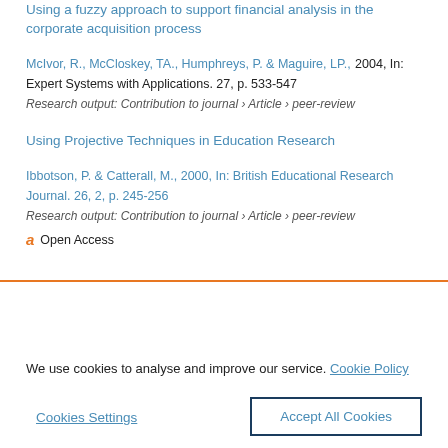Using a fuzzy approach to support financial analysis in the corporate acquisition process
McIvor, R., McCloskey, TA., Humphreys, P. & Maguire, LP., 2004, In: Expert Systems with Applications. 27, p. 533-547
Research output: Contribution to journal › Article › peer-review
Using Projective Techniques in Education Research
Ibbotson, P. & Catterall, M., 2000, In: British Educational Research Journal. 26, 2, p. 245-256
Research output: Contribution to journal › Article › peer-review
Open Access
We use cookies to analyse and improve our service. Cookie Policy
Cookies Settings
Accept All Cookies